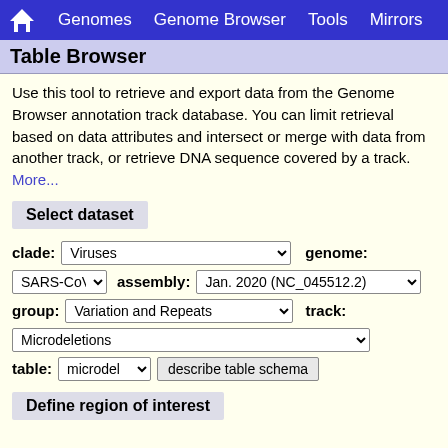Genomes | Genome Browser | Tools | Mirrors
Table Browser
Use this tool to retrieve and export data from the Genome Browser annotation track database. You can limit retrieval based on data attributes and intersect or merge with data from another track, or retrieve DNA sequence covered by a track. More...
Select dataset
clade: Viruses  genome: SARS-CoV-2  assembly: Jan. 2020 (NC_045512.2)  group: Variation and Repeats  track: Microdeletions  table: microdel  describe table schema
Define region of interest
region: genome  position